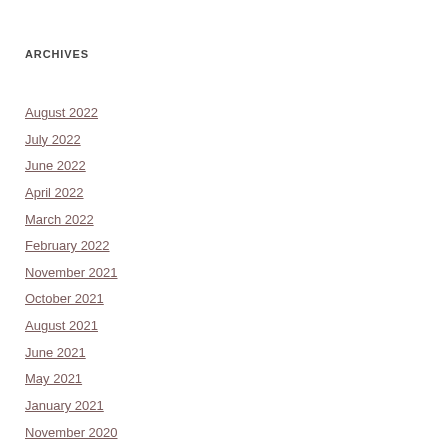ARCHIVES
August 2022
July 2022
June 2022
April 2022
March 2022
February 2022
November 2021
October 2021
August 2021
June 2021
May 2021
January 2021
November 2020
October 2020
August 2020